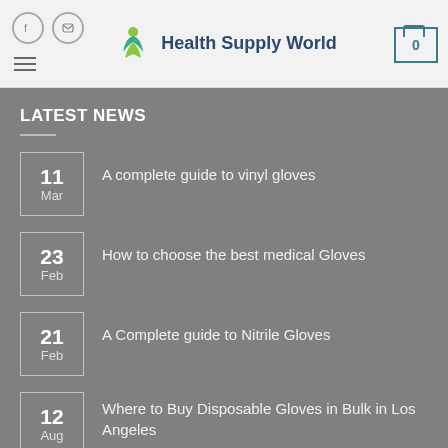[Figure (logo): Health Supply World logo with green leaf/person icon and dark blue text]
LATEST NEWS
11 Mar — A complete guide to vinyl gloves
23 Feb — How to choose the best medical Gloves
21 Feb — A Complete guide to Nitrile Gloves
12 Aug — Where to Buy Disposable Gloves in Bulk in Los Angeles
SIGNUP FOR NEWSLETTER
Please enter a to receive our newsletter